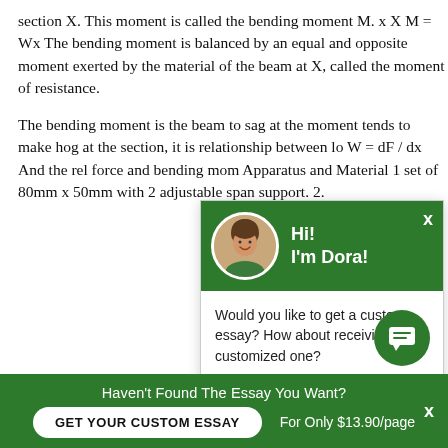section X. This moment is called the bending moment M. x X M = Wx The bending moment is balanced by an equal and opposite moment exerted by the material of the beam at X, called the moment of resistance.
The bending moment is the beam to sag at the moment tends to make hog at the section, it is relationship between lo W = dF / dx And the rel force and bending mom Apparatus and Material 1 set of 80mm x 50mm with 2 adjustable span support. 2.
[Figure (other): Chat popup overlay with green header showing avatar photo of a woman named Dora with greeting 'Hi! I'm Dora!', and body text 'Would you like to get a custom essay? How about receiving a customized one?' with a 'Click here' link.]
Haven't Found The Essay You Want? GET YOUR CUSTOM ESSAY For Only $13.90/page